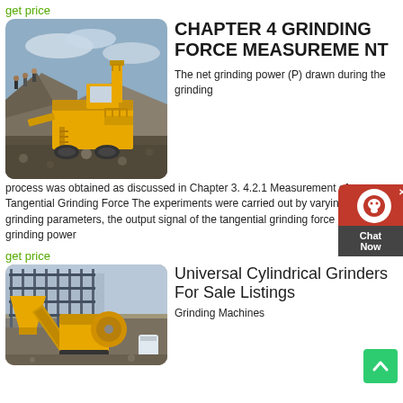get price
[Figure (photo): Yellow heavy mining crushing machine on a rocky hillside with workers standing on top, outdoors under a cloudy sky.]
CHAPTER 4 GRINDING FORCE MEASUREMENT
The net grinding power (P) drawn during the grinding process was obtained as discussed in Chapter 3. 4.2.1 Measurement of Tangential Grinding Force The experiments were carried out by varying the grinding parameters, the output signal of the tangential grinding force and the grinding power
get price
[Figure (photo): Yellow industrial grinding or sieving machine at a construction or mining site with metal framework.]
Universal Cylindrical Grinders For Sale Listings
Grinding Machines